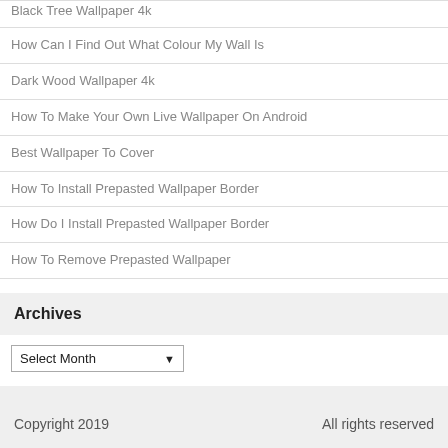Black Tree Wallpaper 4k
How Can I Find Out What Colour My Wall Is
Dark Wood Wallpaper 4k
How To Make Your Own Live Wallpaper On Android
Best Wallpaper To Cover
How To Install Prepasted Wallpaper Border
How Do I Install Prepasted Wallpaper Border
How To Remove Prepasted Wallpaper
Archives
Select Month
Copyright 2019    All rights reserved